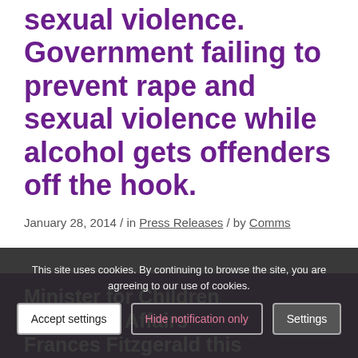sexual violence. Government failing to prevent rape and sexual violence while alcohol gets offenders off the hook.
January 28, 2014 / in Press Releases / by Comms
This site uses cookies. By continuing to browse the site, you are agreeing to our use of cookies.
Minister for Children and Youth Affairs Frances Fitzgerald this